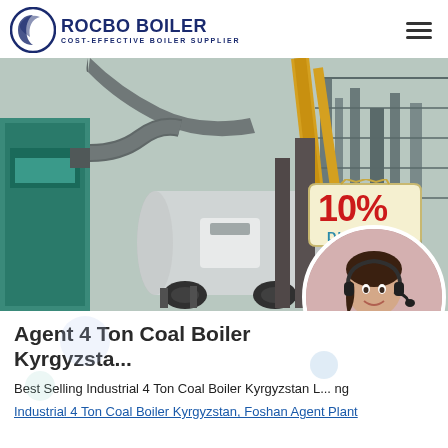ROCBO BOILER - COST-EFFECTIVE BOILER SUPPLIER
[Figure (photo): Industrial coal boiler installation site with large cylindrical boiler, cranes, pipes, and scaffolding. A 10% DISCOUNT badge is overlaid on the lower right of the photo. A circular photo of a customer service agent (woman with headset) overlaps the bottom-right corner of the image.]
Agent 4 Ton Coal Boiler Kyrgyzsta...
Best Selling Industrial 4 Ton Coal Boiler Kyrgyzstan ... ng Industrial 4 Ton Coal Boiler Kyrgyzstan, Foshan Agent Plant